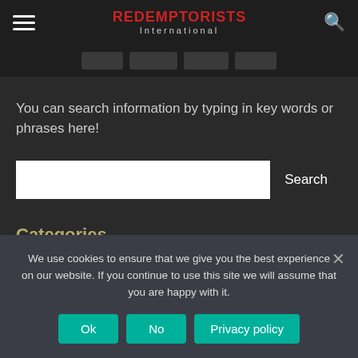REDEMPTORISTS International
[Figure (screenshot): Navigation menu tabs row with four dark rounded-rectangle tab placeholders]
You can search information by typing in key words or phrases here!
[Figure (screenshot): Search input field with a Search button]
Categories
We use cookies to ensure that we give you the best experience on our website. If you continue to use this site we will assume that you are happy with it.
Ok  No  Privacy policy